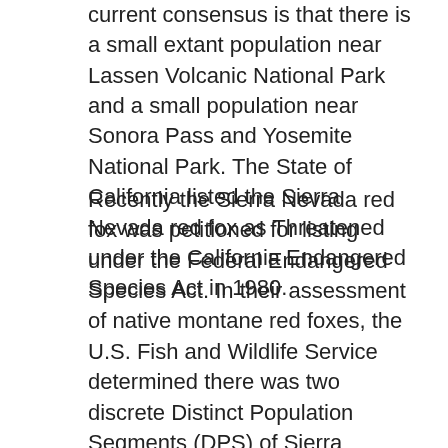current consensus is that there is a small extant population near Lassen Volcanic National Park and a small population near Sonora Pass and Yosemite National Park. The State of California listed the Sierra Nevada red fox as Threatened under the California Endangered Species Act in 1980.
Recently the Sierra Nevada red fox was petitioned for listing under the Federal Endangered Species Act. In their assessment of native montane red foxes, the U.S. Fish and Wildlife Service determined there was two discrete Distinct Population Segments (DPS) of Sierra Nevada red fox: “a southern Cascade population in the Cascades Mountains of northern California and Oregon, and a Sierra Nevada population in the Sierra Nevada Mountains” (USFWS 2015, pages 61011-61013). Subsequently, the Service determined that listing of the southern Cascades DPS was not warranted, but that the Sierra Nevada DPS was Endangered (USFWS 2021).